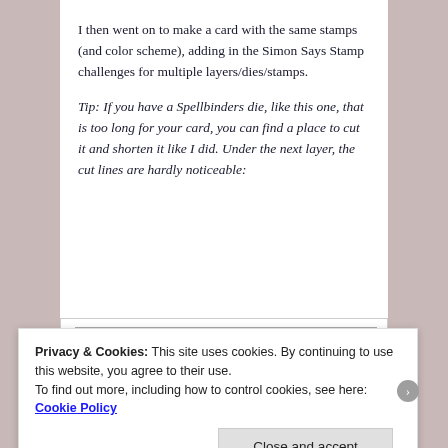I then went on to make a card with the same stamps (and color scheme), adding in the Simon Says Stamp challenges for multiple layers/dies/stamps.
Tip: If you have a Spellbinders die, like this one, that is too long for your card, you can find a place to cut it and shorten it like I did. Under the next layer, the cut lines are hardly noticeable:
[Figure (photo): A green decorative Spellbinders die cut piece with ornate lacy scrollwork pattern, shown against a pink paper layer on a gray background.]
Privacy & Cookies: This site uses cookies. By continuing to use this website, you agree to their use.
To find out more, including how to control cookies, see here: Cookie Policy
Close and accept